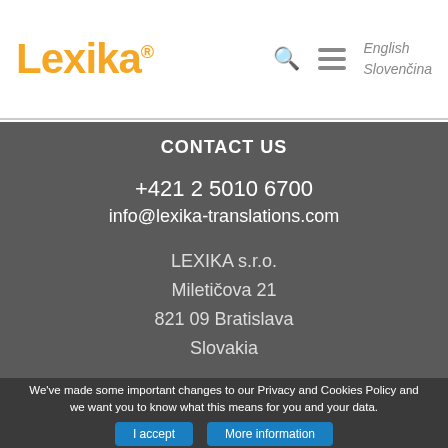Lexika® [search icon] [menu icon] English Slovenčina
CONTACT US
+421 2 5010 6700
info@lexika-translations.com
LEXIKA s.r.o.
Miletičova 21
821 09 Bratislava
Slovakia
We've made some important changes to our Privacy and Cookies Policy and we want you to know what this means for you and your data.
I accept   More information